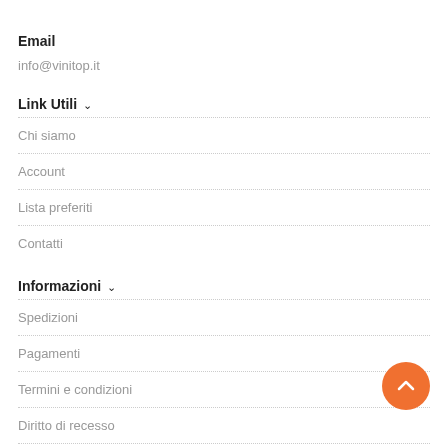Email
info@vinitop.it
Link Utili
Chi siamo
Account
Lista preferiti
Contatti
Informazioni
Spedizioni
Pagamenti
Termini e condizioni
Diritto di recesso